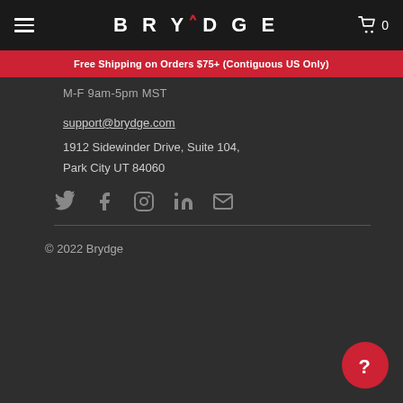BRYDGE — navigation header with hamburger menu and cart (0 items)
Free Shipping on Orders $75+ (Contiguous US Only)
M-F 9am-5pm MST
support@brydge.com
1912 Sidewinder Drive, Suite 104,
Park City UT 84060
[Figure (infographic): Social media icons: Twitter, Facebook, Instagram, LinkedIn, Email]
© 2022 Brydge